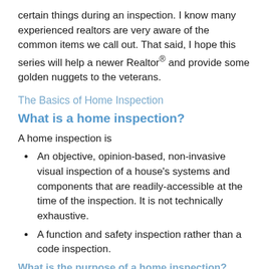certain things during an inspection. I know many experienced realtors are very aware of the common items we call out. That said, I hope this series will help a newer Realtor® and provide some golden nuggets to the veterans.
The Basics of Home Inspection
What is a home inspection?
A home inspection is
An objective, opinion-based, non-invasive visual inspection of a house's systems and components that are readily-accessible at the time of the inspection. It is not technically exhaustive.
A function and safety inspection rather than a code inspection.
What is the purpose of a home inspection?